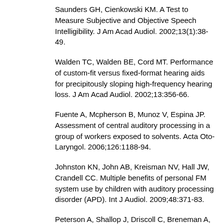Saunders GH, Cienkowski KM. A Test to Measure Subjective and Objective Speech Intelligibility. J Am Acad Audiol. 2002;13(1):38-49.
Walden TC, Walden BE, Cord MT. Performance of custom-fit versus fixed-format hearing aids for precipitously sloping high-frequency hearing loss. J Am Acad Audiol. 2002;13:356-66.
Fuente A, Mcpherson B, Munoz V, Espina JP. Assessment of central auditory processing in a group of workers exposed to solvents. Acta Oto-Laryngol. 2006;126:1188-94.
Johnston KN, John AB, Kreisman NV, Hall JW, Crandell CC. Multiple benefits of personal FM system use by children with auditory processing disorder (APD). Int J Audiol. 2009;48:371-83.
Peterson A, Shallop J, Driscoll C, Breneman A, Babb J, Stoeckel R, et al. Outcomes of Cochlear Implantation in Children with Auditory Neuropathy. J Am Acad Audiol. 2003;14(4):188-201.